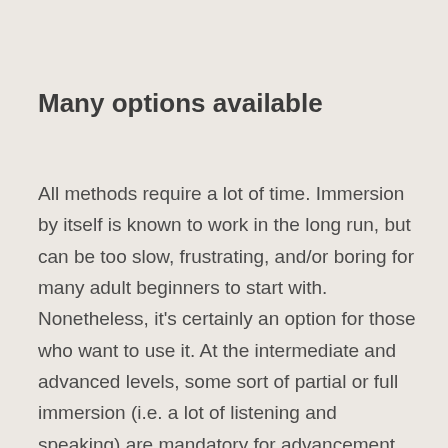Many options available
All methods require a lot of time. Immersion by itself is known to work in the long run, but can be too slow, frustrating, and/or boring for many adult beginners to start with. Nonetheless, it's certainly an option for those who want to use it. At the intermediate and advanced levels, some sort of partial or full immersion (i.e. a lot of listening and speaking) are mandatory for advancement, and certainly some listening practice is needed at all levels to make your speech sound less strange and foreign. Furthermore, technology is making it easier to read and listen more at an earlier